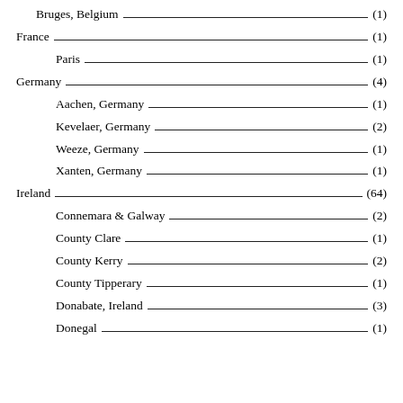Bruges, Belgium (1)
France (1)
Paris (1)
Germany (4)
Aachen, Germany (1)
Kevelaer, Germany (2)
Weeze, Germany (1)
Xanten, Germany (1)
Ireland (64)
Connemara & Galway (2)
County Clare (1)
County Kerry (2)
County Tipperary (1)
Donabate, Ireland (3)
Donegal (1)